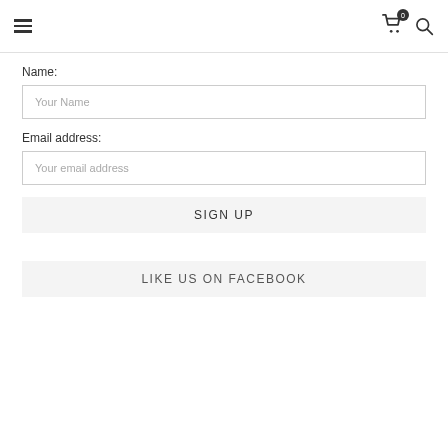Navigation header with hamburger menu, cart icon with badge 0, and search icon
Name:
Your Name
Email address:
Your email address
SIGN UP
LIKE US ON FACEBOOK